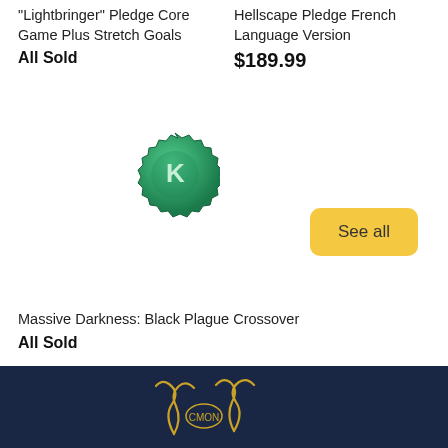"Lightbringer" Pledge Core Game Plus Stretch Goals
All Sold
Hellscape Pledge French Language Version
$189.99
[Figure (logo): Green Kickstarter badge/seal with letter K in the center]
See all
Massive Darkness: Black Plague Crossover
All Sold
[Figure (logo): Dark navy footer with gold/yellow serpent or dragon logo illustration]